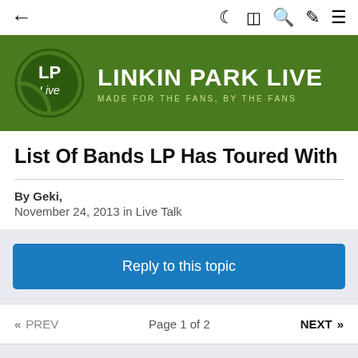← (back arrow) | (moon icon) (grid icon) (search icon) (brush icon) (menu icon)
[Figure (logo): Linkin Park Live banner with green background, circular LP Live logo, text 'LINKIN PARK LIVE' and subtitle 'MADE FOR THE FANS, BY THE FANS']
List Of Bands LP Has Toured With
By Geki,
November 24, 2013 in Live Talk
Reply to this topic
<< PREV   Page 1 of 2   NEXT >>
Geki